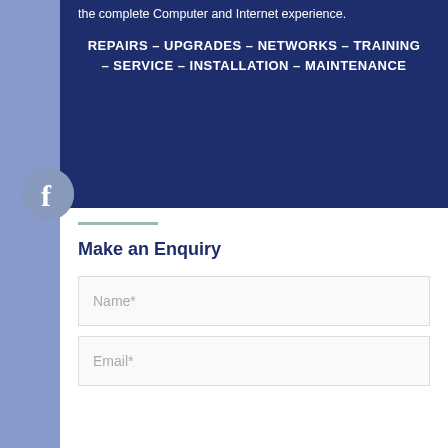the complete Computer and Internet experience.
REPAIRS – UPGRADES – NETWORKS – TRAINING – SERVICE – INSTALLATION – MAINTENANCE
[Figure (logo): Facebook icon circle with letter f]
Make an Enquiry
Name*
Email*